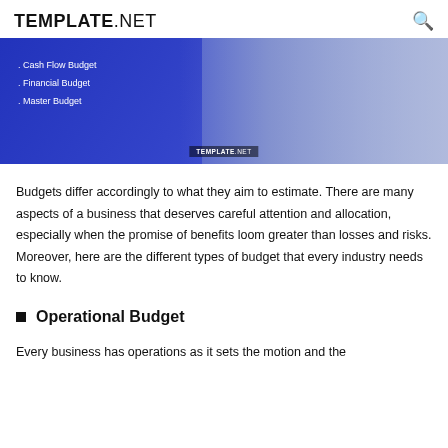TEMPLATE.NET
[Figure (illustration): Banner image with blue/purple gradient background showing a keyboard and hands, with text listing Cash Flow Budget, Financial Budget, Master Budget. Template.net watermark at bottom center.]
Budgets differ accordingly to what they aim to estimate. There are many aspects of a business that deserves careful attention and allocation, especially when the promise of benefits loom greater than losses and risks. Moreover, here are the different types of budget that every industry needs to know.
Operational Budget
Every business has operations as it sets the motion and the